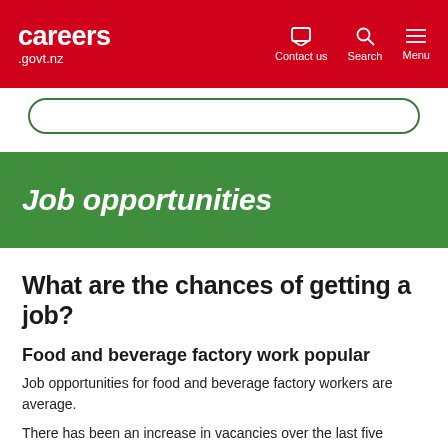careers.govt.nz — Contact us | Search | Menu
Job opportunities
What are the chances of getting a job?
Food and beverage factory work popular
Job opportunities for food and beverage factory workers are average.
There has been an increase in vacancies over the last five